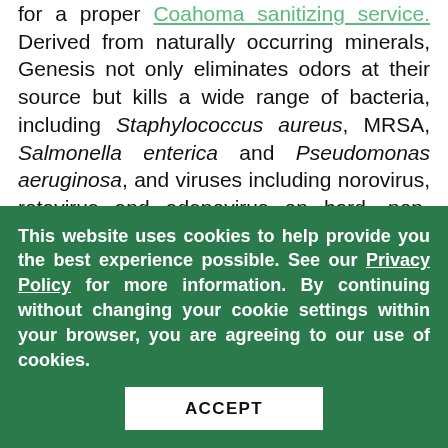for a proper Coahoma sanitizing service. Derived from naturally occurring minerals, Genesis not only eliminates odors at their source but kills a wide range of bacteria, including Staphylococcus aureus, MRSA, Salmonella enterica and Pseudomonas aeruginosa, and viruses including norovirus, rotavirus and adenovirus on hard, non-porous, environmental surfaces. It meets the AOAC germicidal spray standards for Hospital Grade Disinfection and is on the EPA N List of products determined to meet the criteria for use against SARS-CoV-2, the virus that causes COVID-19. As a result, this treatment will eliminate bacteria and
This website uses cookies to help provide you the best experience possible. See our Privacy Policy for more information. By continuing without changing your cookie settings within your browser, you are agreeing to our use of cookies.